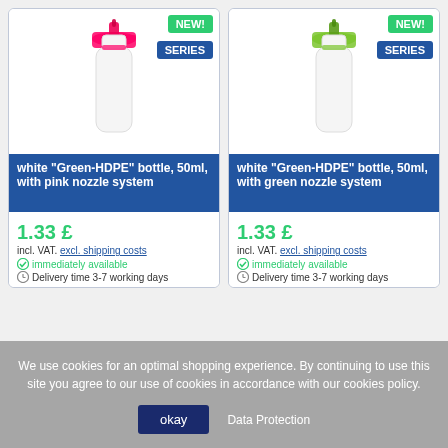[Figure (photo): White HDPE spray bottle with pink nozzle system, 50ml]
[Figure (photo): White HDPE spray bottle with green nozzle system, 50ml]
white "Green-HDPE" bottle, 50ml, with pink nozzle system
white "Green-HDPE" bottle, 50ml, with green nozzle system
1.33 £
incl. VAT. excl. shipping costs
✓ immediately available
⏱ Delivery time 3-7 working days
1.33 £
incl. VAT. excl. shipping costs
✓ immediately available
⏱ Delivery time 3-7 working days
We use cookies for an optimal shopping experience. By continuing to use this site you agree to our use of cookies in accordance with our cookies policy.
okay    Data Protection